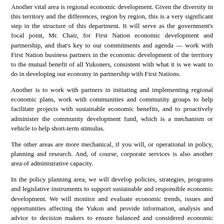Another vital area is regional economic development. Given the diversity in this territory and the differences, region by region, this is a very significant step in the structure of this department. It will serve as the government's focal point, Mr. Chair, for First Nation economic development and partnership, and that's key to our commitments and agenda — work with First Nation business partners in the economic development of the territory to the mutual benefit of all Yukoners, consistent with what it is we want to do in developing our economy in partnership with First Nations.
Another is to work with partners in initiating and implementing regional economic plans, work with communities and community groups to help facilitate projects with sustainable economic benefits, and to proactively administer the community development fund, which is a mechanism or vehicle to help short-term stimulus.
The other areas are more mechanical, if you will, or operational in policy, planning and research. And, of course, corporate services is also another area of administrative capacity.
In the policy planning area, we will develop policies, strategies, programs and legislative instruments to support sustainable and responsible economic development. We will monitor and evaluate economic trends, issues and opportunities affecting the Yukon and provide information, analysis and advice to decision makers to ensure balanced and considered economic actions. Working closely with other governments is something that we've already embarked on with our cooperation accords, whether it be national, regional, First Nation municipal. We want to cooperatively achieve Yukon benefits and provide relevant and reliable economic research and analysis to support broader understanding of the Yukon economy. I think that one particular part of this structure of the department is even as important as strategic planning, because understanding the Yukon economy is a